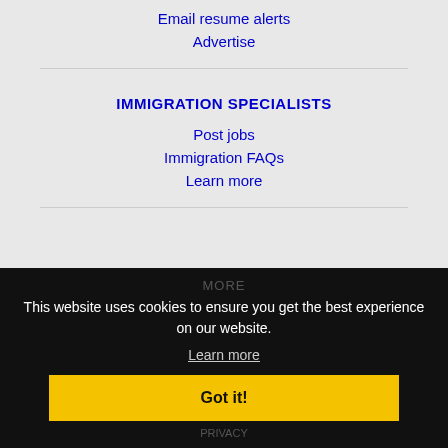Email resume alerts
Advertise
IMMIGRATION SPECIALISTS
Post jobs
Immigration FAQs
Learn more
MORE
This website uses cookies to ensure you get the best experience on our website.
Learn more
Got it!